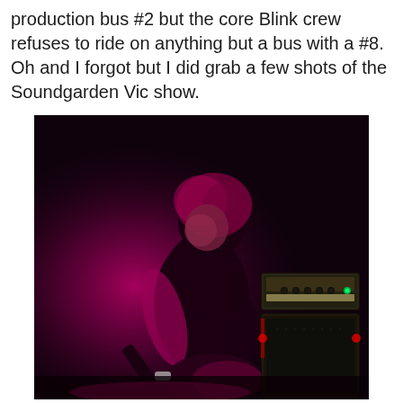production bus #2 but the core Blink crew refuses to ride on anything but a bus with a #8. Oh and I forgot but I did grab a few shots of the Soundgarden Vic show.
[Figure (photo): Concert photo of a guitarist performing on stage under pink/magenta stage lighting, with a guitar amplifier stack visible to the right, against a dark background.]